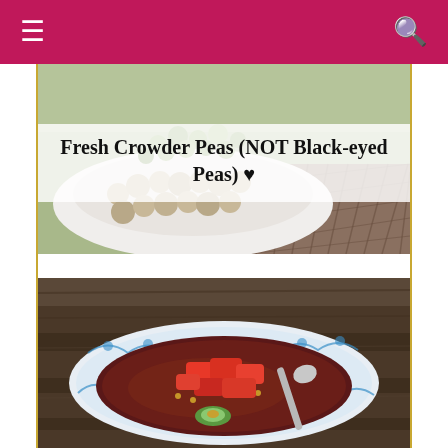Navigation bar with menu and search icons
[Figure (photo): A white bowl/plate filled with fresh crowder peas (rounded, beige legumes) with green stems visible, placed on a metal mesh surface outdoors. Text overlay reads: Fresh Crowder Peas (NOT Black-eyed Peas) ♥]
Fresh Crowder Peas (NOT Black-eyed Peas) ♥
[Figure (photo): A blue-and-white floral patterned bowl containing a dark reddish-brown chili or stew topped with chunks of tomato and a slice of avocado, with a metal spoon, placed on a weathered wooden surface.]